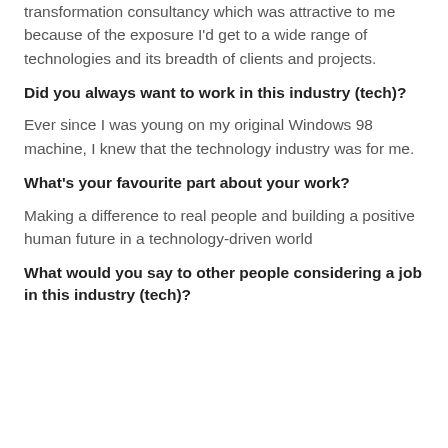transformation consultancy which was attractive to me because of the exposure I'd get to a wide range of technologies and its breadth of clients and projects.
Did you always want to work in this industry (tech)?
Ever since I was young on my original Windows 98 machine, I knew that the technology industry was for me.
What's your favourite part about your work?
Making a difference to real people and building a positive human future in a technology-driven world
What would you say to other people considering a job in this industry (tech)?